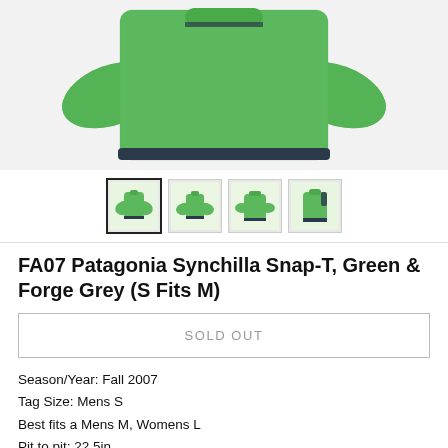[Figure (photo): Green Patagonia Synchilla Snap-T fleece jacket shown from back/front, green color with dark navy trim, displayed on white background]
[Figure (photo): Four thumbnail images of the same green Patagonia Synchilla Snap-T jacket from different angles]
FA07 Patagonia Synchilla Snap-T, Green & Forge Grey (S Fits M)
SOLD OUT
Season/Year: Fall 2007
Tag Size: Mens S
Best fits a Mens M, Womens L
Pit to pit: 22.5in
Base of the back collar to bottom: 26in
Pit to end of sleeve: 22.5in